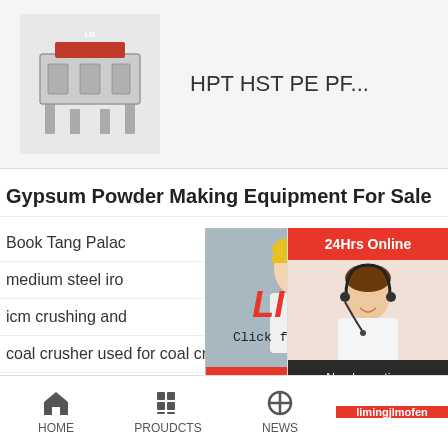[Figure (photo): Industrial crushing machine product image (HPT HST PE PF series)]
HPT HST PE PF...
Gypsum Powder Making Equipment For Sale
Book Tang Palac
medium steel iro
icm crushing and
coal crusher used for coal crushing production line e
fly ash grinding plant manufacturer
[Figure (screenshot): Live chat popup overlay with workers photo background, LIVE CHAT title in red italic, 'Click for a Free Consultation' subtitle, Chat now (red) and Chat later (dark) buttons, close X button]
[Figure (screenshot): Right sidebar panel showing: 24Hrs Online red bar, customer service agent photo, 'Need questions & suggestion?' dark panel, Chat Now red pill button, Enquiry dark section, limingjlmofen red section]
HOME   PROUDCTS   NEWS   limingjlmofen